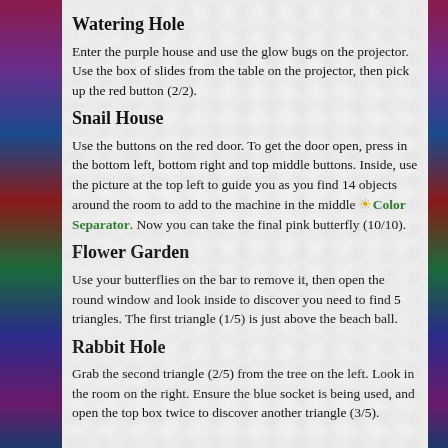Watering Hole
Enter the purple house and use the glow bugs on the projector. Use the box of slides from the table on the projector, then pick up the red button (2/2).
Snail House
Use the buttons on the red door. To get the door open, press in the bottom left, bottom right and top middle buttons. Inside, use the picture at the top left to guide you as you find 14 objects around the room to add to the machine in the middle ☀ Color Separator. Now you can take the final pink butterfly (10/10).
Flower Garden
Use your butterflies on the bar to remove it, then open the round window and look inside to discover you need to find 5 triangles. The first triangle (1/5) is just above the beach ball.
Rabbit Hole
Grab the second triangle (2/5) from the tree on the left. Look in the room on the right. Ensure the blue socket is being used, and open the top box twice to discover another triangle (3/5).